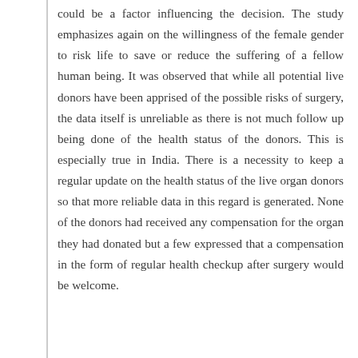could be a factor influencing the decision. The study emphasizes again on the willingness of the female gender to risk life to save or reduce the suffering of a fellow human being. It was observed that while all potential live donors have been apprised of the possible risks of surgery, the data itself is unreliable as there is not much follow up being done of the health status of the donors. This is especially true in India. There is a necessity to keep a regular update on the health status of the live organ donors so that more reliable data in this regard is generated. None of the donors had received any compensation for the organ they had donated but a few expressed that a compensation in the form of regular health checkup after surgery would be welcome.